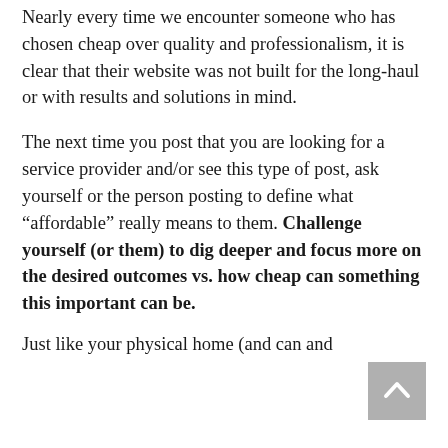Nearly every time we encounter someone who has chosen cheap over quality and professionalism, it is clear that their website was not built for the long-haul or with results and solutions in mind.
The next time you post that you are looking for a service provider and/or see this type of post, ask yourself or the person posting to define what “affordable” really means to them. Challenge yourself (or them) to dig deeper and focus more on the desired outcomes vs. how cheap can something this important can be.
Just like your physical home (and can and...